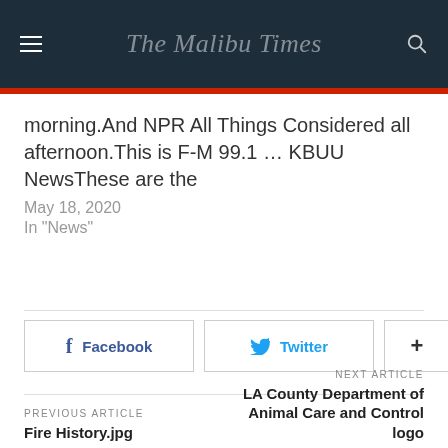The Malibu Times
morning.And NPR All Things Considered all afternoon.This is F-M 99.1 … KBUU NewsThese are the
May 18, 2020
In "News"
Facebook  Twitter  +
PREVIOUS ARTICLE
Fire History.jpg
NEXT ARTICLE
LA County Department of Animal Care and Control logo